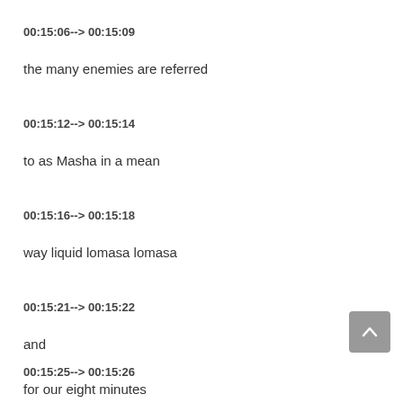00:15:06--> 00:15:09
the many enemies are referred
00:15:12--> 00:15:14
to as Masha in a mean
00:15:16--> 00:15:18
way liquid lomasa lomasa
00:15:21--> 00:15:22
and
00:15:25--> 00:15:26
for our eight minutes